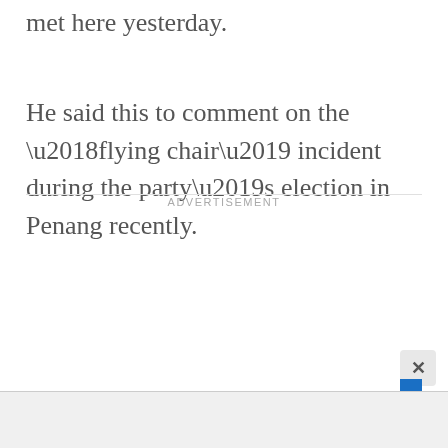met here yesterday.
He said this to comment on the ‘flying chair’ incident during the party’s election in Penang recently.
ADVERTISEMENT